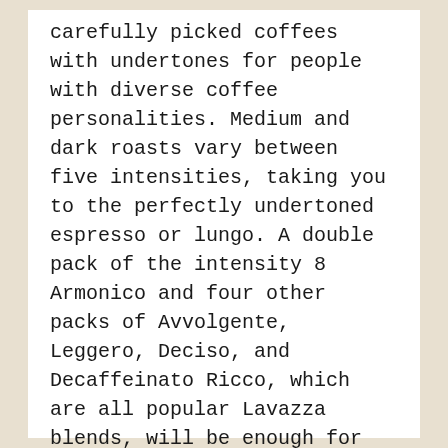from the beautiful repertoire of carefully picked coffees with undertones for people with diverse coffee personalities. Medium and dark roasts vary between five intensities, taking you to the perfectly undertoned espresso or lungo. A double pack of the intensity 8 Armonico and four other packs of Avvolgente, Leggero, Deciso, and Decaffeinato Ricco, which are all popular Lavazza blends, will be enough for you to start your own coffee history.
Key features: